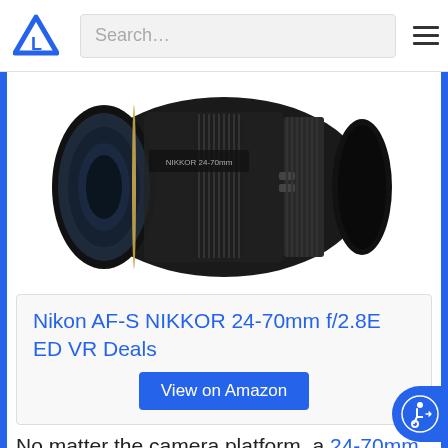[Figure (screenshot): Website header with logo (blue triangle L), search bar, and hamburger menu]
[Figure (photo): Nikon AF-S NIKKOR 24-70mm f/2.8E ED VR camera lens on white background]
Nikon AF-S NIKKOR 24-70mm f/2.8E ED VR Deals
View on Amazon
No matter the camera platform, a 24-70mm zoom lens is one of versatile around. In this case, it's the Nikon AF-S NIKKOR 24-70mm f/2.8E ED VR, which also boasts